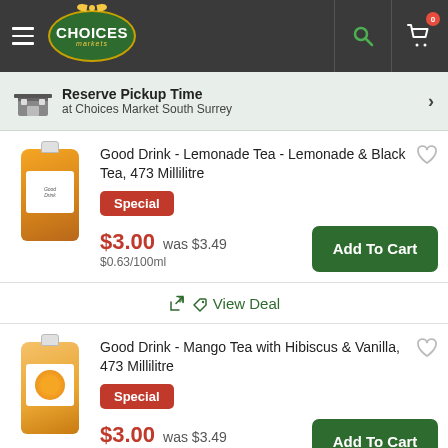[Figure (screenshot): Choices Markets app header with hamburger menu, logo, search icon, and cart icon showing 0 items]
Reserve Pickup Time at Choices Market South Surrey
Good Drink - Lemonade Tea - Lemonade & Black Tea, 473 Millilitre
Special
$3.00 was $3.49 $0.63/100ml
Add To Cart
View Deal
Good Drink - Mango Tea with Hibiscus & Vanilla, 473 Millilitre
Special
$3.00 was $3.49
Add To Cart